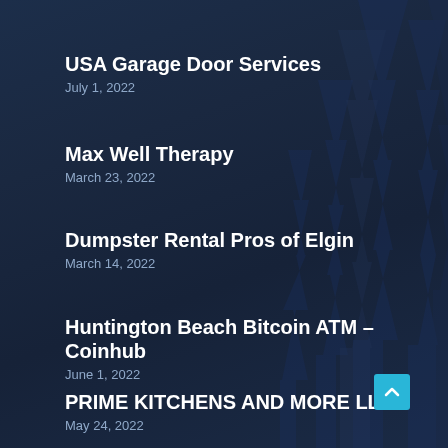USA Garage Door Services
July 1, 2022
Max Well Therapy
March 23, 2022
Dumpster Rental Pros of Elgin
March 14, 2022
Huntington Beach Bitcoin ATM – Coinhub
June 1, 2022
PRIME KITCHENS AND MORE LLC
May 24, 2022